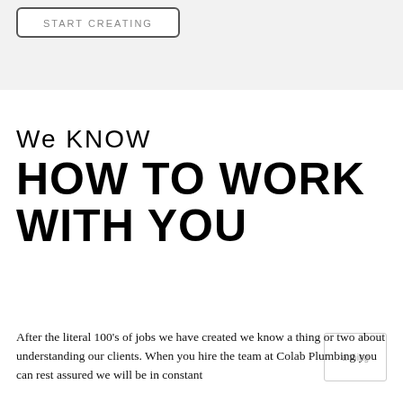[Figure (screenshot): Button with text START CREATING inside a rounded rectangle border on a light grey background]
We KNOW HOW TO WORK WITH YOU
After the literal 100's of jobs we have created we know a thing or two about understanding our clients. When you hire the team at Colab Plumbing you can rest assured we will be in constant communication with you...